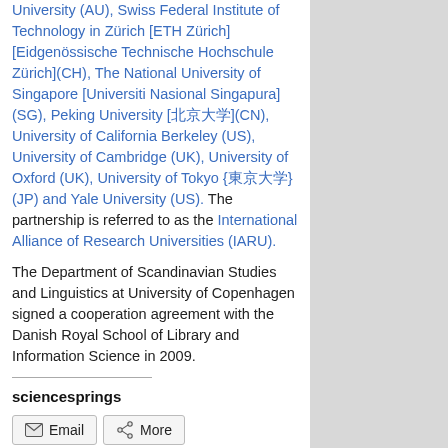University (AU), Swiss Federal Institute of Technology in Zürich [ETH Zürich] [Eidgenössische Technische Hochschule Zürich](CH), The National University of Singapore [Universiti Nasional Singapura] (SG), Peking University [北京大学](CN), University of California Berkeley (US), University of Cambridge (UK), University of Oxford (UK), University of Tokyo {東京大学}(JP) and Yale University (US). The partnership is referred to as the International Alliance of Research Universities (IARU).
The Department of Scandinavian Studies and Linguistics at University of Copenhagen signed a cooperation agreement with the Danish Royal School of Library and Information Science in 2009.
sciencesprings
[Figure (other): Email and More share buttons]
Loading...